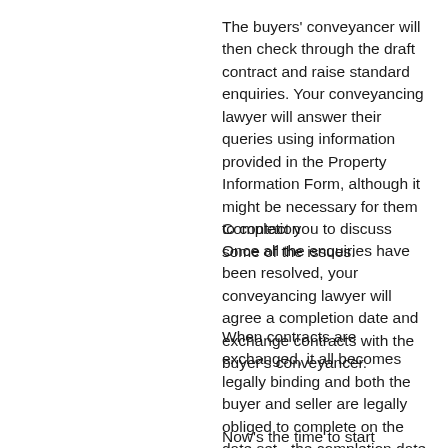The buyers' conveyancer will then check through the draft contract and raise standard enquiries. Your conveyancing lawyer will answer their queries using information provided in the Property Information Form, although it might be necessary for them to contact you to discuss some of the issues.
Completion
Once all the enquiries have been resolved, your conveyancing lawyer will agree a completion date and exchange contracts with the buyer's conveyancer.
When contracts are exchanged, it all becomes legally binding and both the buyer and seller are legally obliged to complete on the date set - the completion date.
Now's the time to start thinking about